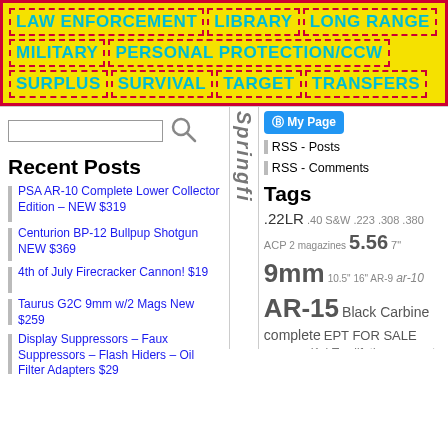LAW ENFORCEMENT | LIBRARY | LONG RANGE | MILITARY | PERSONAL PROTECTION/CCW | SURPLUS | SURVIVAL | TARGET | TRANSFERS
[Figure (screenshot): Search input bar with magnifying glass icon]
Recent Posts
PSA AR-10 Complete Lower Collector Edition – NEW $319
Centurion BP-12 Bullpup Shotgun NEW $369
4th of July Firecracker Cannon! $19
Taurus G2C 9mm w/2 Mags New $259
Display Suppressors – Faux Suppressors – Flash Hiders – Oil Filter Adapters $29
My Page
RSS - Posts
RSS - Comments
Tags
.22LR .40 S&W .223 .308 .380 ACP 2 magazines 5.56 7" 9mm 10.5" 16" AR-9 ar-10 AR-15 Black Carbine complete EPT FOR SALE germany Kel-Tec lifetime warranty lower Lower Receiver M&P-15 M-Lok magpul mid-length MOE+ NEW Picatinny Rail Pistol ppx PSA Radical